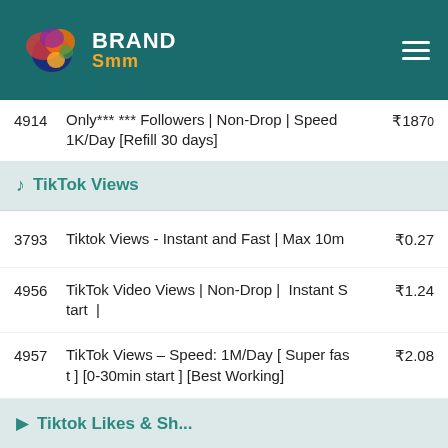BrandSmm
4914 | Only*** *** Followers | Non-Drop | Speed 1K/Day [Refill 30 days] | ₹1870
TikTok Views
3793 | Tiktok Views - Instant and Fast | Max 10m | ₹0.27
4956 | TikTok Video Views | Non-Drop | Instant Start | | ₹1.24
4957 | TikTok Views - Speed: 1M/Day [ Super fast ] [0-30min start ] [Best Working] | ₹2.08
4959 | Tiktok Views [0-1/H] [Stable] - Ultra fast : 50k-100k/hour | ₹8.66
TikTok Likes & Sh...